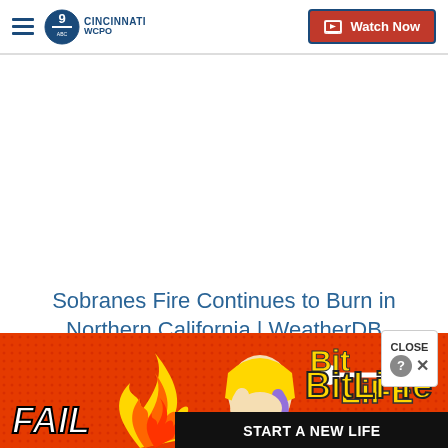WCPO 9 CINCINNATI — Watch Now
Sobranes Fire Continues to Burn in Northern California | WeatherDB
[Figure (screenshot): CLOSE button overlay with help and X icons]
[Figure (illustration): BitLife advertisement banner with animated characters, FAIL text, flame, sperm graphic, and START A NEW LIFE text on red background]